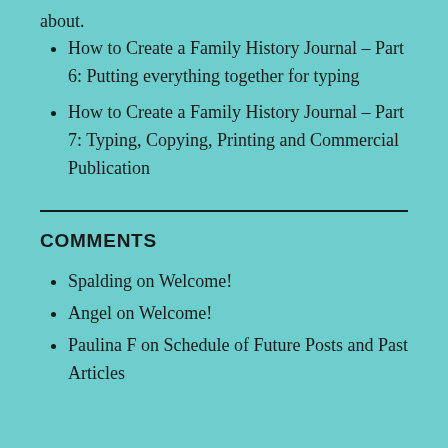about.
How to Create a Family History Journal – Part 6: Putting everything together for typing
How to Create a Family History Journal – Part 7: Typing, Copying, Printing and Commercial Publication
COMMENTS
Spalding on Welcome!
Angel on Welcome!
Paulina F on Schedule of Future Posts and Past Articles